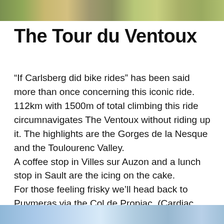[Figure (photo): Outdoor landscape photograph strip at top of page, showing rocky/forested terrain]
The Tour du Ventoux
“If Carlsberg did bike rides” has been said more than once concerning this iconic ride.
112km with 1500m of total climbing this ride circumnavigates The Ventoux without riding up it. The highlights are the Gorges de la Nesque and the Toulourenc Valley.
A coffee stop in Villes sur Auzon and a lunch stop in Sault are the icing on the cake.
For those feeling frisky we’ll head back to Puymeras via the Col de Propiac. (Cardiac Hill!)
[Figure (photo): Outdoor landscape photograph strip at bottom of page, showing blue sky and terrain]